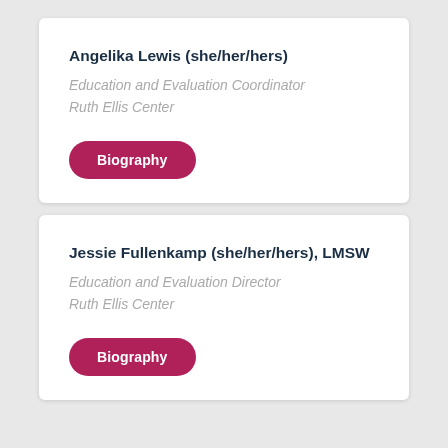Angelika Lewis (she/her/hers)
Education and Evaluation Coordinator
Ruth Ellis Center
Biography
Jessie Fullenkamp (she/her/hers), LMSW
Education and Evaluation Director
Ruth Ellis Center
Biography